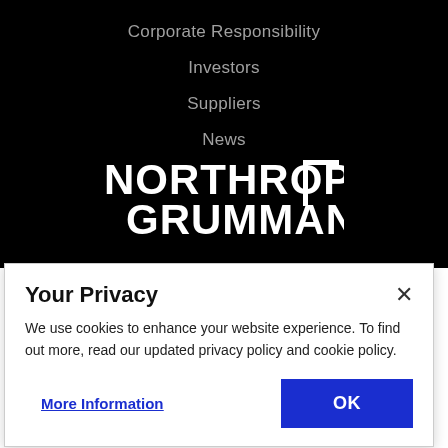Corporate Responsibility
Investors
Suppliers
News
[Figure (logo): Northrop Grumman logo in white on black background, bold uppercase text with a bracket symbol on the right]
Your Privacy
We use cookies to enhance your website experience. To find out more, read our updated privacy policy and cookie policy.
More Information
OK